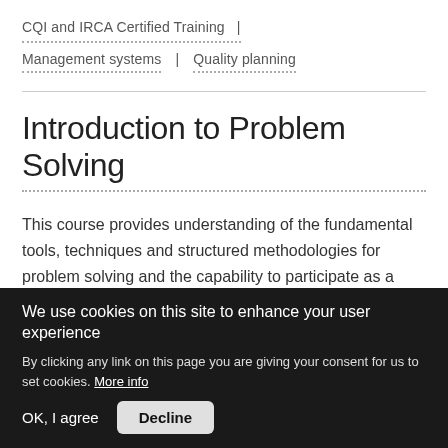CQI and IRCA Certified Training  |
Management systems   |   Quality planning
Introduction to Problem Solving
This course provides understanding of the fundamental tools, techniques and structured methodologies for problem solving and the capability to participate as a member of a problem-solving team in the application of
We use cookies on this site to enhance your user experience
By clicking any link on this page you are giving your consent for us to set cookies. More info
OK, I agree   Decline